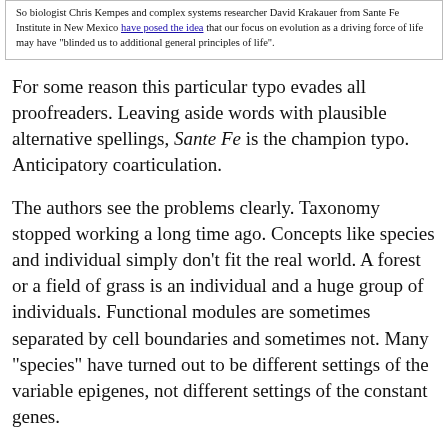So biologist Chris Kempes and complex systems researcher David Krakauer from Sante Fe Institute in New Mexico have posed the idea that our focus on evolution as a driving force of life may have "blinded us to additional general principles of life".
For some reason this particular typo evades all proofreaders. Leaving aside words with plausible alternative spellings, Sante Fe is the champion typo. Anticipatory coarticulation.
The authors see the problems clearly. Taxonomy stopped working a long time ago. Concepts like species and individual simply don't fit the real world. A forest or a field of grass is an individual and a huge group of individuals. Functional modules are sometimes separated by cell boundaries and sometimes not. Many "species" have turned out to be different settings of the variable epigenes, not different settings of the constant genes.
Using this definition vastly increases what can be seen as life, to include concepts such as culture, forests, and the economy. A more traditional definition might consider these as products of life, rather than life itself.